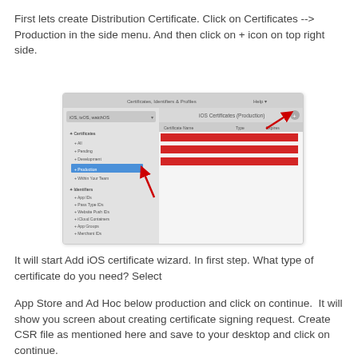First lets create Distribution Certificate. Click on Certificates --> Production in the side menu. And then click on + icon on top right side.
[Figure (screenshot): Screenshot of Certificates, Identifiers & Profiles page showing iOS Certificates (Production) section with red highlighted rows and a red arrow pointing to Production in the left menu, and another arrow pointing to the + button top right.]
It will start Add iOS certificate wizard. In first step. What type of certificate do you need? Select
App Store and Ad Hoc below production and click on continue.  It will show you screen about creating certificate signing request. Create CSR file as mentioned here and save to your desktop and click on continue.